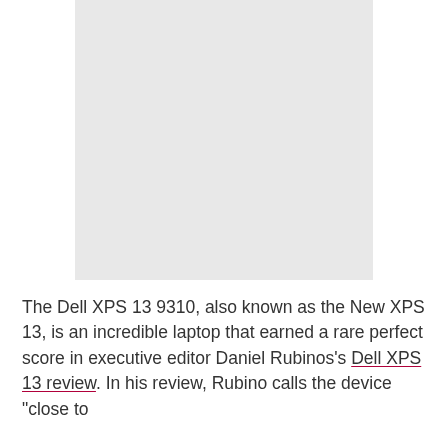[Figure (photo): Light gray placeholder image of a laptop or device, shown as a large rectangular gray block]
The Dell XPS 13 9310, also known as the New XPS 13, is an incredible laptop that earned a rare perfect score in executive editor Daniel Rubinos's Dell XPS 13 review. In his review, Rubino calls the device "close to